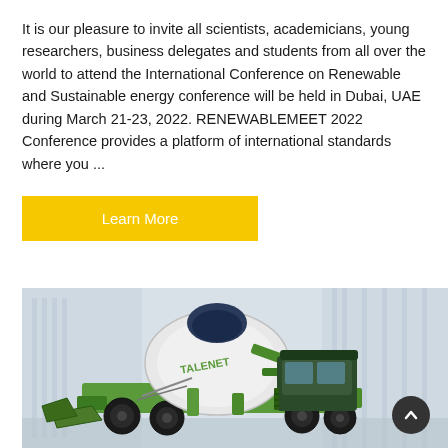It is our pleasure to invite all scientists, academicians, young researchers, business delegates and students from all over the world to attend the International Conference on Renewable and Sustainable energy conference will be held in Dubai, UAE during March 21-23, 2022. RENEWABLEMEET 2022 Conference provides a platform of international standards where you ...
Learn More
[Figure (photo): Photo of a green and white Talenet self-loading concrete mixer truck with a large rotating drum, operator cab, and front shovel attachment, on a light grey architectural background.]